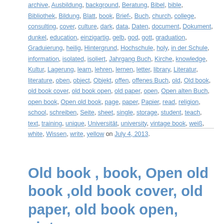archive, Ausbildung, background, Beratung, Bibel, bible, Bibliothek, Bildung, Blatt, book, Brief-, Buch, church, college, consulting, cover, culture, dark, data, Daten, document, Dokument, dunkel, education, einzigartig, gelb, god, gott, graduation, Graduierung, heilig, Hintergrund, Hochschule, holy, in der Schule, information, isolated, isoliert, Jahrgang Buch, Kirche, knowledge, Kultur, Lagerung, learn, lehren, lernen, letter, library, Literatur, literature, oben, object, Objekt, offen, offenes Buch, old, Old book, old book cover, old book open, old paper, open, Open alten Buch, open book, Open old book, page, paper, Papier, read, religion, school, schreiben, Seite, sheet, single, storage, student, teach, text, training, unique, Universität, university, vintage book, weiß, white, Wissen, write, yellow on July 4, 2013.
Old book , book, Open old book ,old book cover, old paper, old book open, vintage